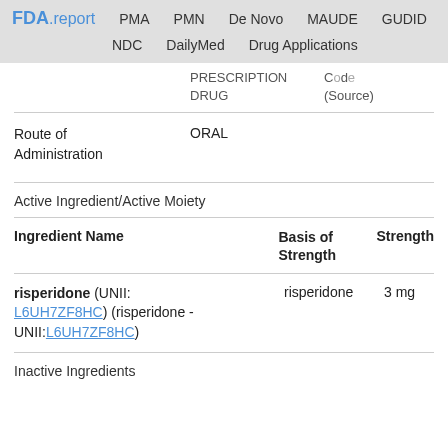FDA.report   PMA   PMN   De Novo   MAUDE   GUDID   NDC   DailyMed   Drug Applications
PRESCRIPTION DRUG   Code (Source)   50458604
Route of Administration: ORAL
Active Ingredient/Active Moiety
| Ingredient Name | Basis of Strength | Strength |
| --- | --- | --- |
| risperidone (UNII: L6UH7ZF8HC) (risperidone - UNII:L6UH7ZF8HC) | risperidone | 3 mg |
Inactive Ingredients